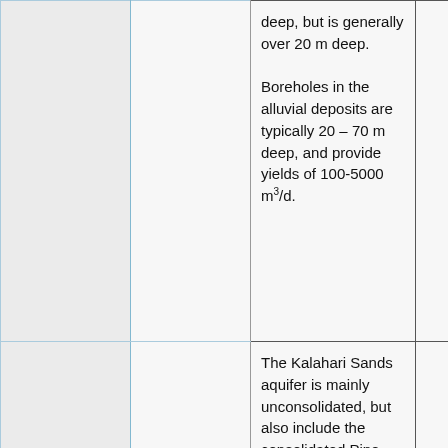|  |  | deep, but is generally over 20 m deep.

Boreholes in the alluvial deposits are typically 20 – 70 m deep, and provide yields of 100-5000 m³/d. |  |
|  |  | The Kalahari Sands aquifer is mainly unconsolidated, but also include the consolidated Pipe |  |